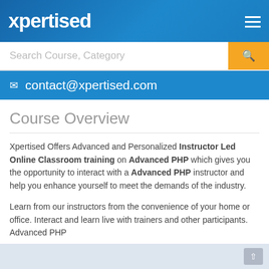xpertised
Search Course, Category
contact@xpertised.com
Course Overview
Xpertised Offers Advanced and Personalized Instructor Led Online Classroom training on Advanced PHP which gives you the opportunity to interact with a Advanced PHP instructor and help you enhance yourself to meet the demands of the industry.
Learn from our instructors from the convenience of your home or office. Interact and learn live with trainers and other participants. Advanced PHP